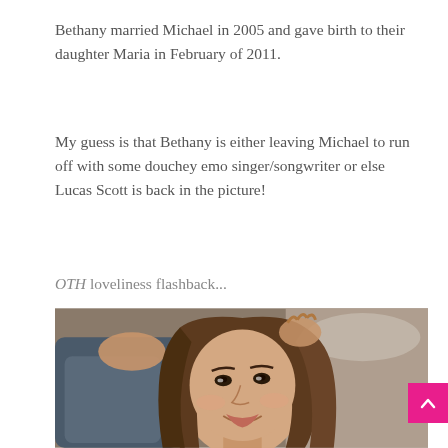Bethany married Michael in 2005 and gave birth to their daughter Maria in February of 2011.
My guess is that Bethany is either leaving Michael to run off with some douchey emo singer/songwriter or else Lucas Scott is back in the picture!
OTH loveliness flashback...
[Figure (photo): Close-up photo of a young woman with long brown hair, smiling, wearing a grey/blue top, posed with one hand near her head.]